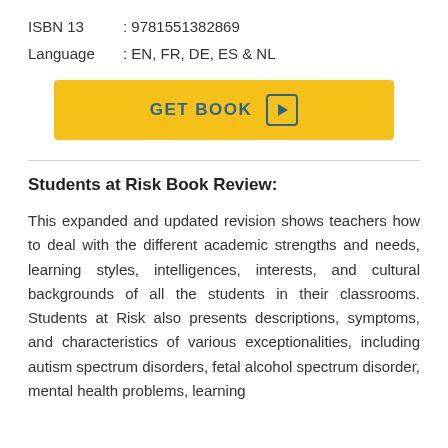ISBN 13 : 9781551382869
Language : EN, FR, DE, ES & NL
[Figure (other): GET BOOK button with play icon, yellow background]
Students at Risk Book Review:
This expanded and updated revision shows teachers how to deal with the different academic strengths and needs, learning styles, intelligences, interests, and cultural backgrounds of all the students in their classrooms. Students at Risk also presents descriptions, symptoms, and characteristics of various exceptionalities, including autism spectrum disorders, fetal alcohol spectrum disorder, mental health problems, learning